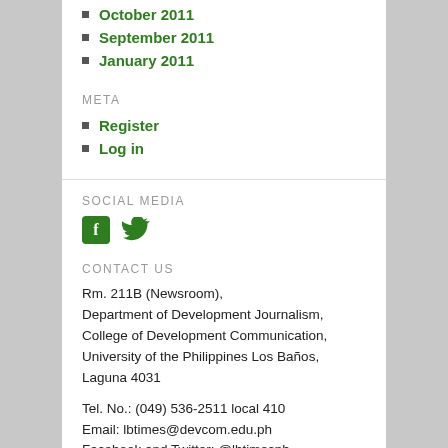October 2011
September 2011
January 2011
META
Register
Log in
SOCIAL MEDIA
[Figure (illustration): Facebook and Twitter social media icons in green]
CONTACT US
Rm. 211B (Newsroom), Department of Development Journalism, College of Development Communication, University of the Philippines Los Baños, Laguna 4031
Tel. No.: (049) 536-2511 local 410
Email: lbtimes@devcom.edu.ph
Facebook and Twitter: @lbtimesph